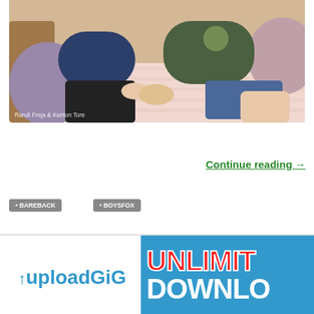[Figure (photo): Two young men sitting on a couch with colorful pillows. One wearing a navy blue t-shirt and dark pants, the other wearing an olive green t-shirt and blue shorts.]
Randi Freja & Kenton Tore
Continue reading →
BAREBACK
BOYSFOX
[Figure (logo): UploadGig advertisement banner with 'UNLIMITED DOWNLOAD' text on blue background]